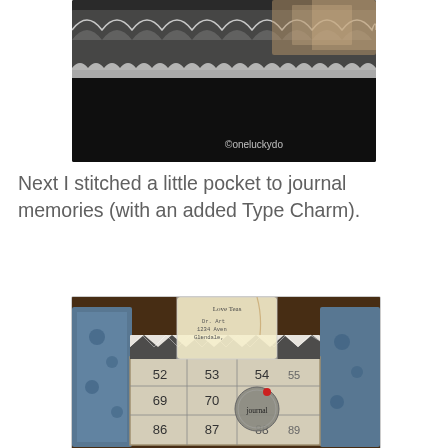[Figure (photo): Close-up photo of fabric with lace trim on dark background, with watermark text '©oneluckydo']
Next I stitched a little pocket to journal memories (with an added Type Charm).
[Figure (photo): Photo of a handmade fabric journal pocket with a bingo card, small paper note labeled 'Love Teas', decorative blue floral fabric, chevron pattern, and a metal charm reading 'journal' with a red bead, on a dark wooden surface.]